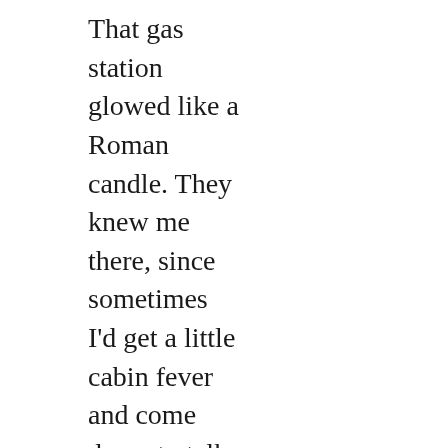That gas station glowed like a Roman candle. They knew me there, since sometimes I'd get a little cabin fever and come down to talk to people, and the owners appreciated